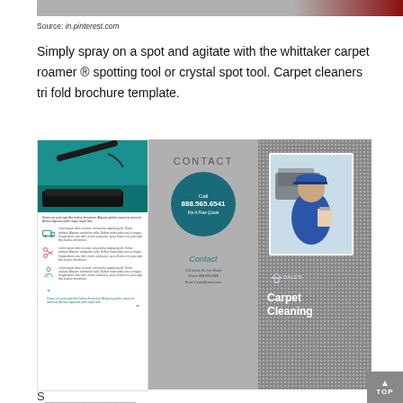[Figure (photo): Top strip showing partial image of a carpet cleaning brochure header, teal and dark red colors]
Source: in.pinterest.com
Simply spray on a spot and agitate with the whittaker carpet roamer ® spotting tool or crystal spot tool. Carpet cleaners tri fold brochure template.
[Figure (photo): A tri-fold carpet cleaning brochure template showing three panels: left panel with vacuum image and service icons on teal background, middle panel with CONTACT header and call-to-action circle showing 888.565.6541 on grey background, right panel with Dale's Carpet Cleaning branding and technician photo on speckled grey background]
TOP